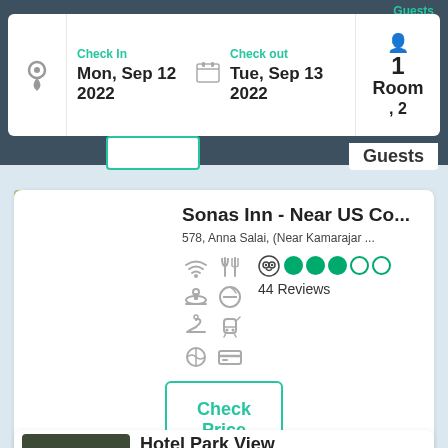Check In: Mon, Sep 12 2022 | Check out: Tue, Sep 13 2022 | 1 Room, 2 Guests
Guests
Sonas Inn - Near US Co...
578, Anna Salai, (Near Kamarajar ...
44 Reviews
Check Price
Hotel Park View